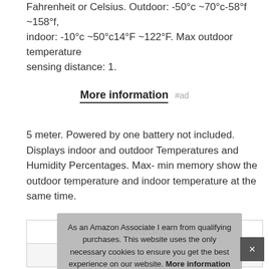iKKEGOL #ad – Dual temperature sensor, Displays daily highs in Fahrenheit or Celsius. Outdoor: -50°c ~70°c-58°f ~158°f, indoor: -10°c ~50°c14°F ~122°F. Max outdoor temperature sensing distance: 1.
More information #ad
5 meter. Powered by one battery not included. Displays indoor and outdoor Temperatures and Humidity Percentages. Max-min memory show the outdoor temperature and indoor temperature at the same time.
| Brand | iKKEGOL #ad |
| --- | --- |
| Ma |  |
|  |  |
As an Amazon Associate I earn from qualifying purchases. This website uses the only necessary cookies to ensure you get the best experience on our website. More information